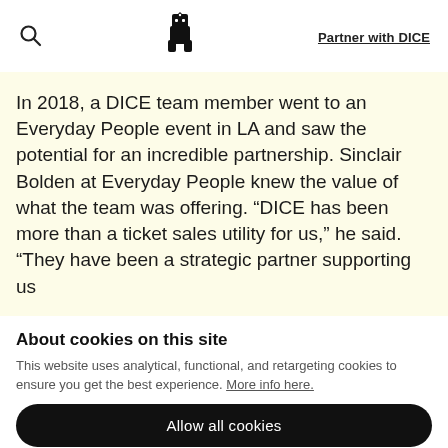🔍  [DICE logo]  Partner with DICE
In 2018, a DICE team member went to an Everyday People event in LA and saw the potential for an incredible partnership. Sinclair Bolden at Everyday People knew the value of what the team was offering. “DICE has been more than a ticket sales utility for us,” he said. “They have been a strategic partner supporting us
About cookies on this site
This website uses analytical, functional, and retargeting cookies to ensure you get the best experience. More info here.
Allow all cookies
Cookie settings